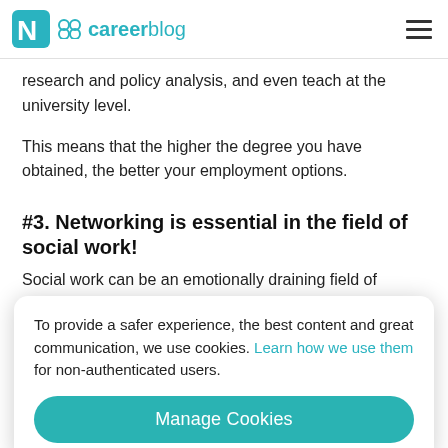careerblog
research and policy analysis, and even teach at the university level.
This means that the higher the degree you have obtained, the better your employment options.
#3. Networking is essential in the field of social work!
Social work can be an emotionally draining field of
To provide a safer experience, the best content and great communication, we use cookies. Learn how we use them for non-authenticated users.
unfamiliar situation